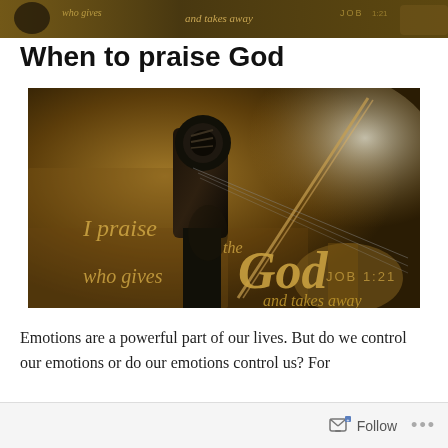[Figure (photo): Partial top strip image showing violin scroll with text overlay: 'who gives and takes away' on dark golden background]
When to praise God
[Figure (photo): Dark golden-toned photograph of a violin scroll/pegbox. Overlaid italic golden text reads: 'I praise the God who gives and takes away JOB 1:21']
Emotions are a powerful part of our lives. But do we control our emotions or do our emotions control us? For
Follow ...